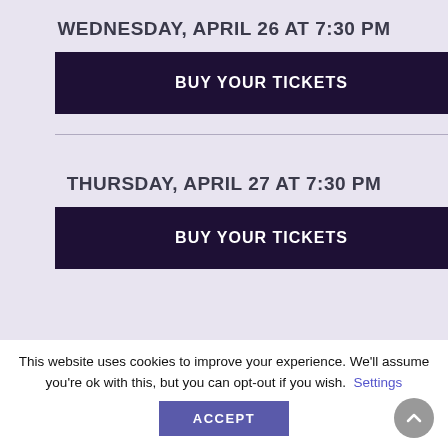WEDNESDAY, APRIL 26 AT 7:30 PM
BUY YOUR TICKETS
THURSDAY, APRIL 27 AT 7:30 PM
BUY YOUR TICKETS
This website uses cookies to improve your experience. We'll assume you're ok with this, but you can opt-out if you wish. Settings
ACCEPT